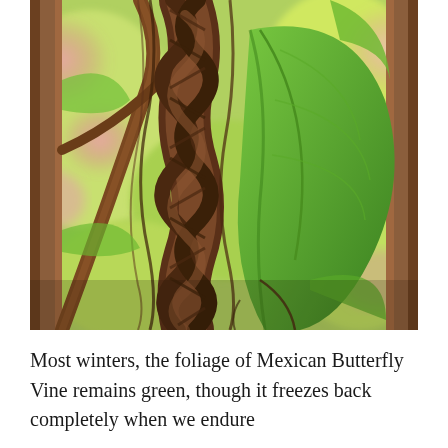[Figure (photo): Close-up photograph of braided/twisted brown woody vines with green leaves and blurred pink flowers in the background. The vines appear to be from a Mexican Butterfly Vine plant, showing an intricate twisted trunk structure.]
Most winters, the foliage of Mexican Butterfly Vine remains green, though it freezes back completely when we endure